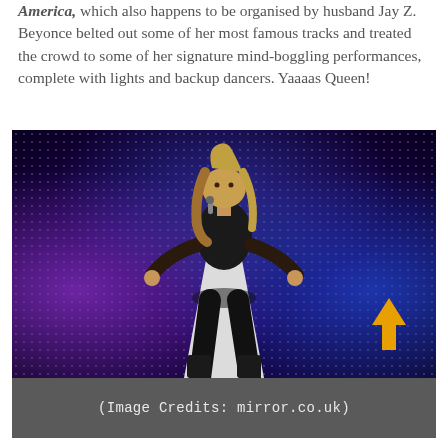America, which also happens to be organised by husband Jay Z. Beyonce belted out some of her most famous tracks and treated the crowd to some of her signature mind-boggling performances, complete with lights and backup dancers. Yaaaas Queen!
[Figure (photo): Beyonce performing on stage with blue and purple LED dot-grid backdrop, wearing black outfit, with white triangular podium/chair, thigh-high black boots, holding microphone. Orange upward arrow in bottom-right corner.]
(Image Credits: mirror.co.uk)